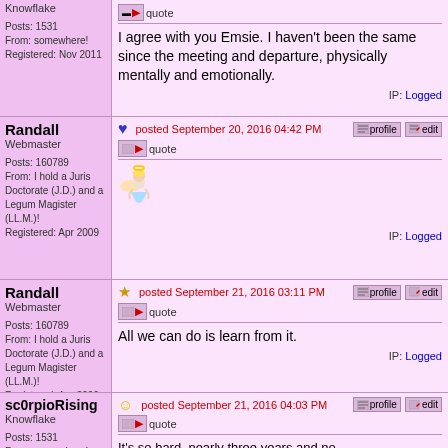Knowflake
Posts: 1531
From: somewhere!
Registered: Nov 2011
I agree with you Emsie. I haven't been the same since the meeting and departure, physically mentally and emotionally.
IP: Logged
Randall
Webmaster
Posts: 160789
From: I hold a Juris Doctorate (J.D.) and a Legum Magister (LL.M.)!
Registered: Apr 2009
posted September 20, 2016 04:42 PM
[Figure (illustration): Pixel art angel with blonde hair wearing light blue dress]
IP: Logged
Randall
Webmaster
Posts: 160789
From: I hold a Juris Doctorate (J.D.) and a Legum Magister (LL.M.)!
Registered: Apr 2009
posted September 21, 2016 03:11 PM
All we can do is learn from it.
IP: Logged
sc0rpioRising
Knowflake
Posts: 1531
From: somewhere!
posted September 21, 2016 04:03 PM
It's so hard, nearly three years and no...